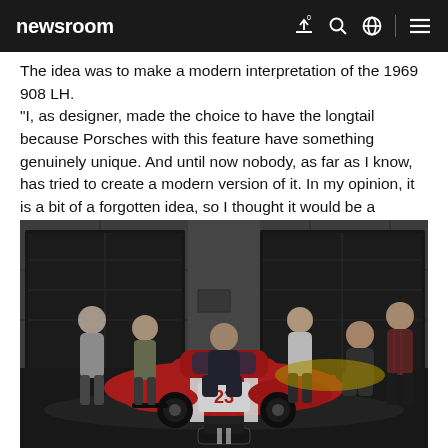newsroom
The idea was to make a modern interpretation of the 1969 908 LH. "I, as designer, made the choice to have the longtail because Porsches with this feature have something genuinely unique. And until now nobody, as far as I know, has tried to create a modern version of it. In my opinion, it is a bit of a forgotten idea, so I thought it would be a "rebirth of an icon" that would generate nostalgia in car and Porsche enthusiasts alike", Alan, the project leader, recalls.
[Figure (photo): Six young men posing in front of a red Porsche 917 race car with number 23, inside a modern garage with concrete walls and dark garage doors. One man in the front center is crouching, others stand around the car. A small model car is visible in front of the group.]